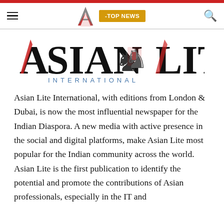Asian Lite International - TOP NEWS
[Figure (logo): Asian Lite International logo with large bold text 'ASIAN LITE' and decorative royal crest emblem in the center, subtitle 'INTERNATIONAL' in spaced blue capitals]
Asian Lite International, with editions from London & Dubai, is now the most influential newspaper for the Indian Diaspora. A new media with active presence in the social and digital platforms, make Asian Lite most popular for the Indian community across the world. Asian Lite is the first publication to identify the potential and promote the contributions of Asian professionals, especially in the IT and